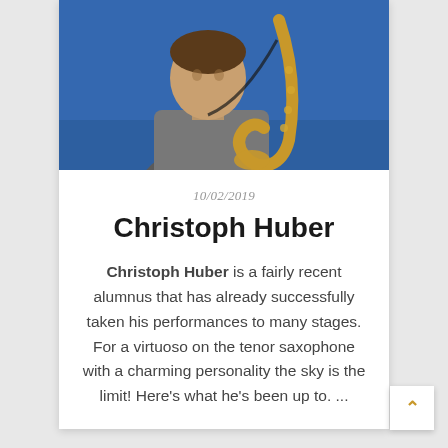[Figure (photo): Photo of Christoph Huber, a man holding a tenor saxophone against a blue background, wearing a grey shirt]
10/02/2019
Christoph Huber
Christoph Huber is a fairly recent alumnus that has already successfully taken his performances to many stages. For a virtuoso on the tenor saxophone with a charming personality the sky is the limit! Here's what he's been up to. ...